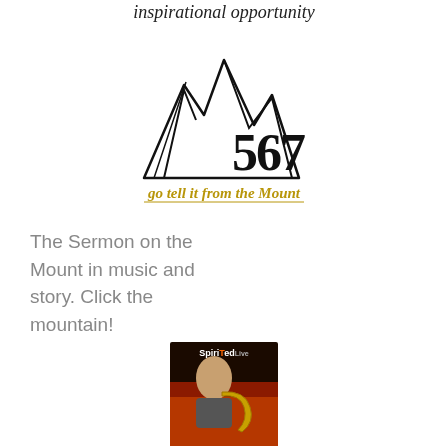inspirational opportunity
[Figure (logo): Mountain silhouette logo with '567' text and tagline 'go tell it from the Mount' in italic gold/black script]
The Sermon on the Mount in music and story. Click the mountain!
[Figure (photo): SpiriTed Live album cover showing a man playing a saxophone with colorful background]